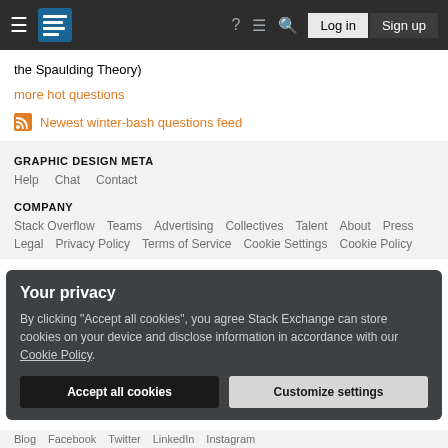Stack Exchange navigation bar with Log in and Sign up buttons
the Spaulding Theory)
more hot questions
Newest winter-bash questions feed
GRAPHIC DESIGN META
Help   Chat   Contact
COMPANY
Stack Overflow   Teams   Advertising   Collectives   Talent   About   Press
Legal   Privacy Policy   Terms of Service   Cookie Settings   Cookie Policy
Your privacy
By clicking "Accept all cookies", you agree Stack Exchange can store cookies on your device and disclose information in accordance with our Cookie Policy.
Accept all cookies   Customize settings
Blog   Facebook   Twitter   LinkedIn   Instagram